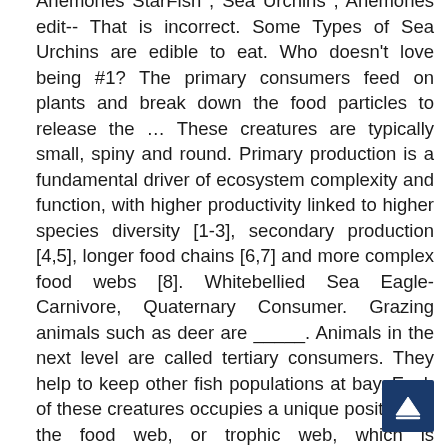Anemones StarFish , Sea Urchins , Anemones edit-- That is incorrect. Some Types of Sea Urchins are edible to eat. Who doesn't love being #1? The primary consumers feed on plants and break down the food particles to release the ... These creatures are typically small, spiny and round. Primary production is a fundamental driver of ecosystem complexity and function, with higher productivity linked to higher species diversity [1-3], secondary production [4,5], longer food chains [6,7] and more complex food webs [8]. Whitebellied Sea Eagle- Carnivore, Quaternary Consumer. Grazing animals such as deer are _____. Animals in the next level are called tertiary consumers. They help to keep other fish populations at bay. Each of these creatures occupies a unique position on the food web, or trophic web, which is composed of producers, consumers, and decomposers. In addition, sheepheads are eaten by
[Figure (other): Dark blue scroll-to-top button with upward triangle arrow icon, positioned at bottom right corner]